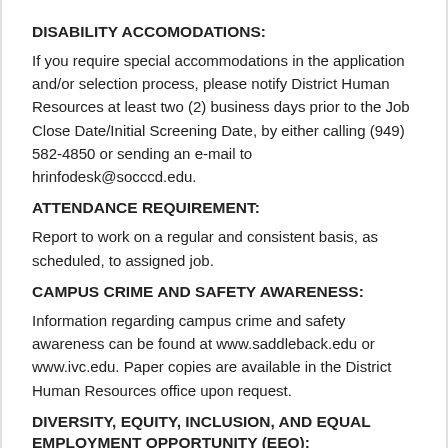DISABILITY ACCOMODATIONS:
If you require special accommodations in the application and/or selection process, please notify District Human Resources at least two (2) business days prior to the Job Close Date/Initial Screening Date, by either calling (949) 582-4850 or sending an e-mail to hrinfodesk@socccd.edu.
ATTENDANCE REQUIREMENT:
Report to work on a regular and consistent basis, as scheduled, to assigned job.
CAMPUS CRIME AND SAFETY AWARENESS:
Information regarding campus crime and safety awareness can be found at www.saddleback.edu or www.ivc.edu. Paper copies are available in the District Human Resources office upon request.
DIVERSITY, EQUITY, INCLUSION, AND EQUAL EMPLOYMENT OPPORTUNITY (EEO):